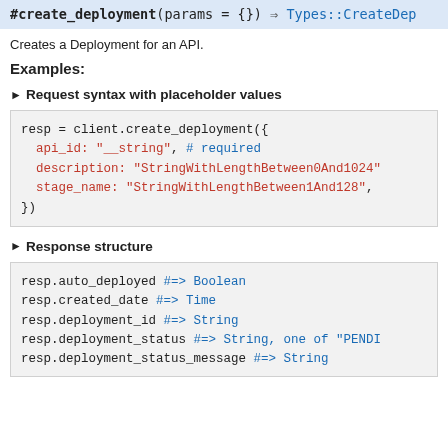#create_deployment(params = {}) ⇒ Types::CreateDeployment
Creates a Deployment for an API.
Examples:
► Request syntax with placeholder values
resp = client.create_deployment({
  api_id: "__string", # required
  description: "StringWithLengthBetween0And1024",
  stage_name: "StringWithLengthBetween1And128",
})
► Response structure
resp.auto_deployed #=> Boolean
resp.created_date #=> Time
resp.deployment_id #=> String
resp.deployment_status #=> String, one of "PENDING"
resp.deployment_status_message #=> String